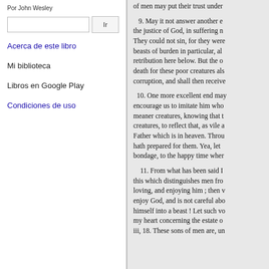Por John Wesley
Acerca de este libro
Mi biblioteca
Libros en Google Play
Condiciones de uso
of men may put their trust under
9. May it not answer another e the justice of God, in suffering n They could not sin, for they were beasts of burden in particular, al retribution here below. But the o death for these poor creatures als corruption, and shall then receive
10. One more excellent end may encourage us to imitate him who meaner creatures, knowing that t creatures, to reflect that, as vile a Father which is in heaven. Throu hath prepared for them. Yea, let bondage, to the happy time wher
11. From what has been said I this which distinguishes men fro loving, and enjoying him ; then v enjoy God, and is not careful abo himself into a beast ! Let such vo my heart concerning the estate o iii, 18. These sons of men are, un